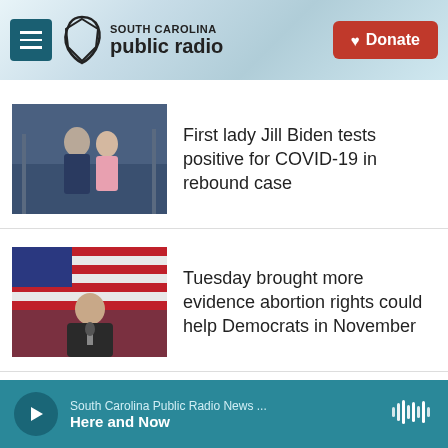[Figure (screenshot): South Carolina Public Radio website header with hamburger menu icon, SC state logo, 'SOUTH CAROLINA public radio' text, and a red Donate button]
[Figure (photo): Photo of President Biden and First Lady Jill Biden walking outdoors]
First lady Jill Biden tests positive for COVID-19 in rebound case
[Figure (photo): Photo of a man speaking at a microphone in front of an American flag]
Tuesday brought more evidence abortion rights could help Democrats in November
[Figure (screenshot): Audio player bar: South Carolina Public Radio News ... Here and Now, with play button and waveform icon]